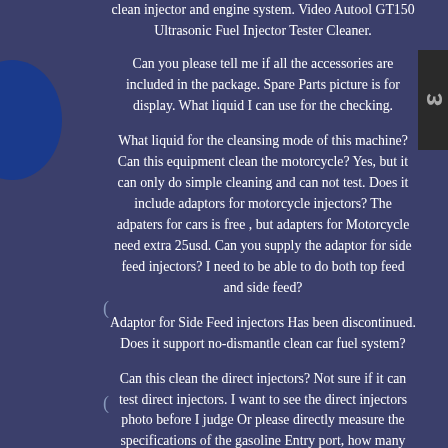clean injector and engine system. Video Autool GT150 Ultrasonic Fuel Injector Tester Cleaner.
Can you please tell me if all the accessories are included in the package. Spare Parts picture is for display. What liquid I can use for the checking.
What liquid for the cleansing mode of this machine? Can this equipment clean the motorcycle? Yes, but it can only do simple cleaning and can not test. Does it include adaptors for motorcycle injectors? The adpaters for cars is free , but adapters for Motorcycle need extra 25usd. Can you supply the adaptor for side feed injectors? I need to be able to do both top feed and side feed?
Adaptor for Side Feed injectors Has been discontinued. Does it support no-dismantle clean car fuel system?
Can this clean the direct injectors? Not sure if it can test direct injectors. I want to see the direct injectors photo before I judge Or please directly measure the specifications of the gasoline Entry port, how many millimeters is the diameter. Is there a 6-cylinders machine?
Why there is a hole in the ultrasound tray. Hole in the ultrasound tray For recycling cleaning liquid. Why have to clean injector. When we turned off the engine suddenly, the gasoline which have been spray out can not be recycled. It